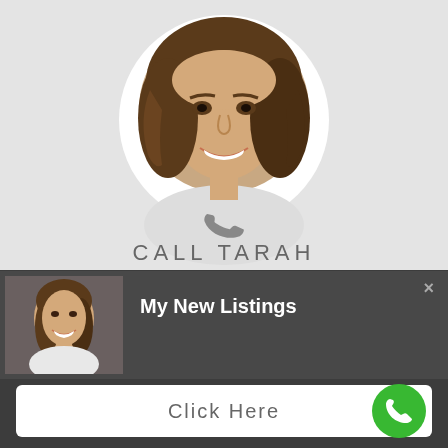[Figure (photo): Circular headshot of a smiling woman with brown wavy hair, on a light gray background]
[Figure (other): Phone handset icon in gray]
CALL TARAH
[Figure (photo): Small thumbnail photo of same woman smiling, in dark notification bar]
My New Listings
×
Click Here